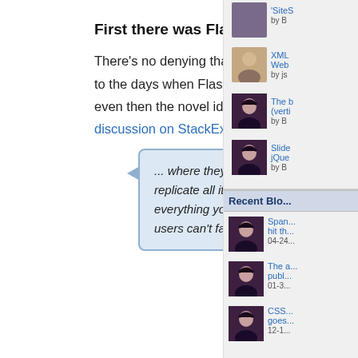First there was Flash… and the magazine metaphor
There's no denying that flipping book softwares have been around for a long time, harking back to the days when Flash was a popular choice for creating user interactions on desktop. But even then the novel idea of an online digital book was doubted by UX enthusiasts. This discussion on StackExchange describes it as an example of the "metaphor anti-pattern";
... where they re-create a physical something in digital form and thereby replicate all its weaknesses; plus, since you can't truly replicate everything you introduce new weaknesses. In this case for example, users can't fan the pages with their wet thumbs.
[Figure (other): Sidebar with recent articles and blog posts with avatar thumbnails]
'SiteS... by B...
XML... Web... by js...
The ... (verti... by B...
Slide... jQue... by B...
Recent Blo...
Span... hit th... 04-24...
The a... publ... 01-3...
CSS... goes... 12-1...